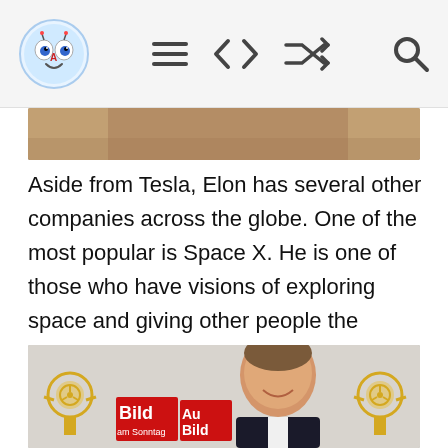[Navigation bar with logo, menu icon, navigation arrows, shuffle icon, and search icon]
[Figure (photo): Top portion of a photo (cropped), showing dark/brown tones — appears to be the top of a person's head]
Aside from Tesla, Elon has several other companies across the globe. One of the most popular is Space X. He is one of those who have visions of exploring space and giving other people the chance to see it. He is the CEO and the Chief Engineer of the said company.
[Figure (photo): Photo of Elon Musk smiling at an event, with Bild am Sonntag and Auto Bild logos visible in the background, along with golden trophy decorations]